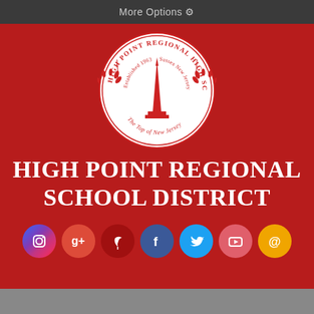More Options ⚙
[Figure (logo): High Point Regional High School seal — circular seal with text 'HIGH POINT REGIONAL HIGH SCHOOL', 'Established 1963', 'Sussex New Jersey', 'The Top of New Jersey', with an obelisk monument and laurel branches in the center]
HIGH POINT REGIONAL SCHOOL DISTRICT
[Figure (infographic): Row of 7 social media icon circles: Instagram (dark blue), Google+ (orange-red), Vine/leaf (dark red), Facebook (blue), Twitter (light blue), YouTube (pink-red), Email/@ (orange-yellow)]